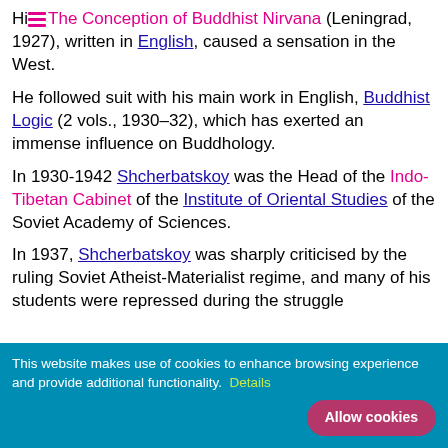His The Conception of Buddhist Nirvana (Leningrad, 1927), written in English, caused a sensation in the West.
He followed suit with his main work in English, Buddhist Logic (2 vols., 1930–32), which has exerted an immense influence on Buddhology.
In 1930-1942 Shcherbatskoy was the Head of the Indo-Tibetan Cabinet of the Institute of Oriental Studies of the Soviet Academy of Sciences.
In 1937, Shcherbatskoy was sharply criticised by the ruling Soviet Atheist-Materialist regime, and many of his students were repressed during the struggle
This website makes use of cookies to enhance browsing experience and provide additional functionality. Details  Allow cookies